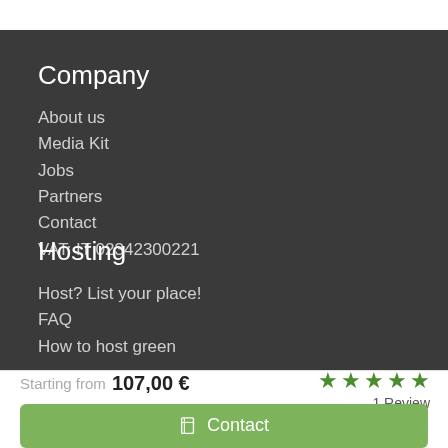Company
About us
Media Kit
Jobs
Partners
Contact
VAT: IT 02342300221
Hosting
Host? List your place!
FAQ
How to host green
Starting from 107,00 €
1 Review
Contact